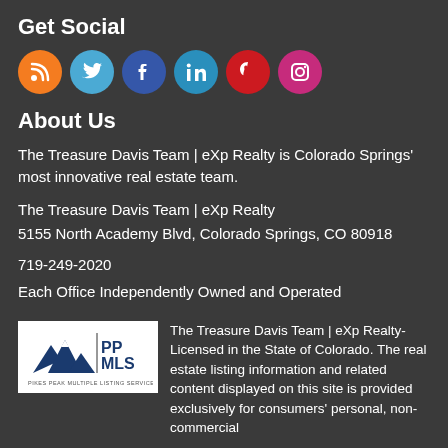Get Social
[Figure (infographic): Six social media icon circles: RSS (orange), Twitter (light blue), Facebook (dark blue), LinkedIn (teal blue), Pinterest (red), Instagram (pink/magenta)]
About Us
The Treasure Davis Team | eXp Realty is Colorado Springs' most innovative real estate team.
The Treasure Davis Team | eXp Realty
5155 North Academy Blvd, Colorado Springs, CO 80918
719-249-2020
Each Office Independently Owned and Operated
[Figure (logo): Pikes Peak Multiple Listing Service (PPMLS) logo with mountain graphic]
The Treasure Davis Team | eXp Realty- Licensed in the State of Colorado. The real estate listing information and related content displayed on this site is provided exclusively for consumers' personal, non-commercial